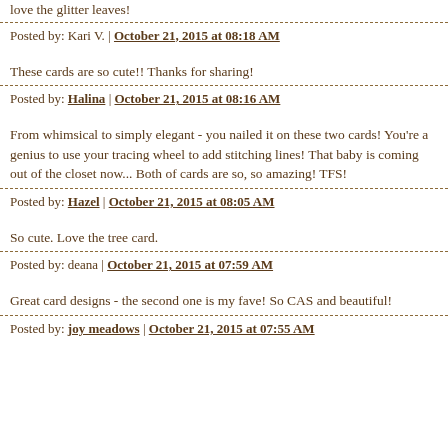love the glitter leaves!
Posted by: Kari V. | October 21, 2015 at 08:18 AM
These cards are so cute!! Thanks for sharing!
Posted by: Halina | October 21, 2015 at 08:16 AM
From whimsical to simply elegant - you nailed it on these two cards! You're a genius to use your tracing wheel to add stitching lines! That baby is coming out of the closet now... Both of cards are so, so amazing! TFS!
Posted by: Hazel | October 21, 2015 at 08:05 AM
So cute. Love the tree card.
Posted by: deana | October 21, 2015 at 07:59 AM
Great card designs - the second one is my fave! So CAS and beautiful!
Posted by: joy meadows | October 21, 2015 at 07:55 AM